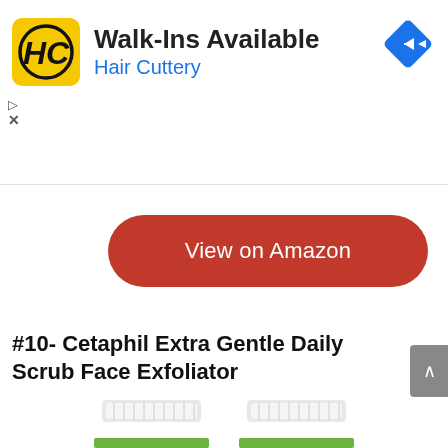[Figure (screenshot): Hair Cuttery advertisement banner with yellow logo showing HC, headline 'Walk-Ins Available', subline 'Hair Cuttery', blue diamond navigation icon, play and close controls]
[Figure (screenshot): Red rounded rectangle button labeled 'View on Amazon' with a collapse/chevron-up button to the left]
#10- Cetaphil Extra Gentle Daily Scrub Face Exfoliator
[Figure (photo): Two Cetaphil Extra Gentle Daily Scrub Face Exfoliator tubes showing white caps and green label portion at bottom of image]